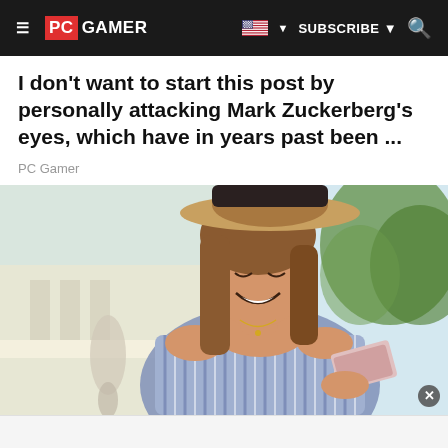PC GAMER | SUBSCRIBE | Search
I don't want to start this post by personally attacking Mark Zuckerberg's eyes, which have in years past been ...
PC Gamer
[Figure (photo): Young woman wearing a wide-brim hat, smiling and looking down at a card she is holding, wearing an off-shoulder striped top, outdoors with blurred background of trees and a white building.]
[Figure (other): White advertisement area at the bottom of the page]